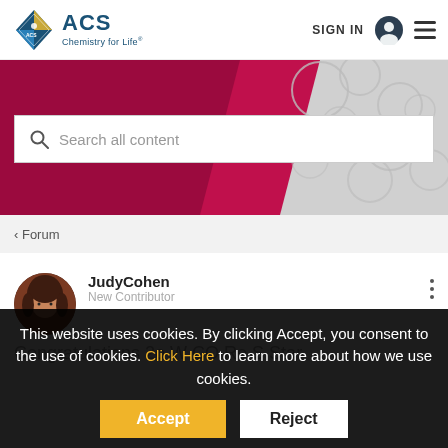ACS Chemistry for Life | SIGN IN
[Figure (screenshot): ACS website hero banner with crimson diagonal design and molecular bubble graphics, containing a search bar with placeholder text 'Search all content']
Search all content
‹ Forum
[Figure (photo): Avatar photo of user JudyCohen, woman with brown hair]
JudyCohen
New Contributor
Congratulations 2o W CO Re S Star
This website uses cookies. By clicking Accept, you consent to the use of cookies. Click Here to learn more about how we use cookies.